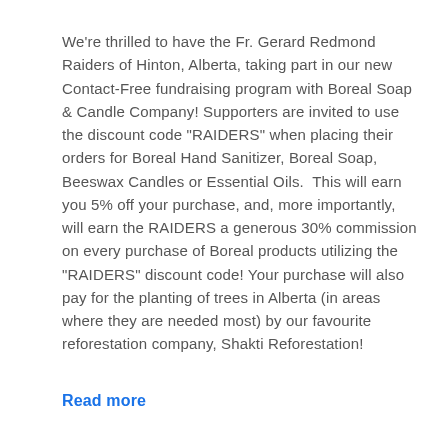We're thrilled to have the Fr. Gerard Redmond Raiders of Hinton, Alberta, taking part in our new Contact-Free fundraising program with Boreal Soap & Candle Company! Supporters are invited to use the discount code "RAIDERS" when placing their orders for Boreal Hand Sanitizer, Boreal Soap, Beeswax Candles or Essential Oils.  This will earn you 5% off your purchase, and, more importantly, will earn the RAIDERS a generous 30% commission on every purchase of Boreal products utilizing the "RAIDERS" discount code! Your purchase will also pay for the planting of trees in Alberta (in areas where they are needed most) by our favourite reforestation company, Shakti Reforestation!
Read more